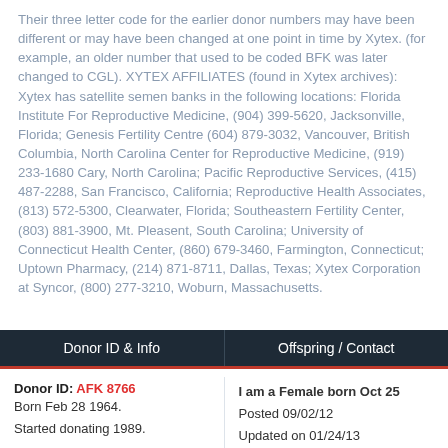Their three letter code for the earlier donor numbers may have been different or may have been changed at one point in time by Xytex. (for example, an older number that used to be coded BFK was later changed to CGL). XYTEX AFFILIATES (found in Xytex archives): Xytex has satellite semen banks in the following locations: Florida Institute For Reproductive Medicine, (904) 399-5620, Jacksonville, Florida; Genesis Fertility Centre (604) 879-3032, Vancouver, British Columbia, North Carolina Center for Reproductive Medicine, (919) 233-1680 Cary, North Carolina; Pacific Reproductive Services, (415) 487-2288, San Francisco, California; Reproductive Health Associates, (813) 572-5300, Clearwater, Florida; Southeastern Fertility Center, (803) 881-3900, Mt. Pleasent, South Carolina; University of Connecticut Health Center, (860) 679-3460, Farmington, Connecticut; Uptown Pharmacy, (214) 871-8711, Dallas, Texas; Xytex Corporation at Syncor, (800) 277-3210, Woburn, Massachusetts.
| Donor ID & Info | Offspring / Contact |
| --- | --- |
| Donor ID: AFK 8766
Born Feb 28 1964.
Started donating 1989. | I am a Female born Oct 25
Posted 09/02/12
Updated on 01/24/13 |